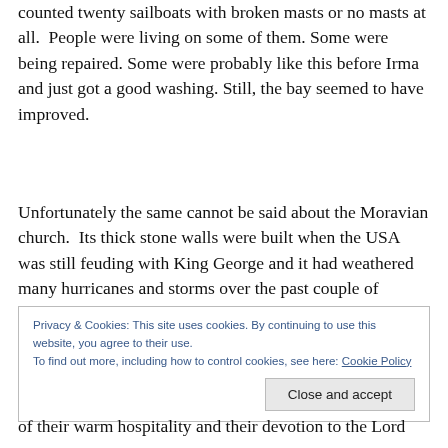counted twenty sailboats with broken masts or no masts at all.  People were living on some of them. Some were being repaired. Some were probably like this before Irma and just got a good washing. Still, the bay seemed to have improved.
Unfortunately the same cannot be said about the Moravian church.  Its thick stone walls were built when the USA was still feuding with King George and it had weathered many hurricanes and storms over the past couple of centuries.
Privacy & Cookies: This site uses cookies. By continuing to use this website, you agree to their use.
To find out more, including how to control cookies, see here: Cookie Policy
of their warm hospitality and their devotion to the Lord